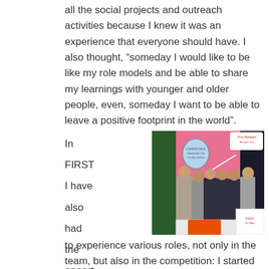all the social projects and outreach activities because I knew it was an experience that everyone should have. I also thought, “someday I would like to be like my role models and be able to share my learnings with younger and older people, even, someday I want to be able to leave a positive footprint in the world”.
In FIRST I have also had the opportunity
[Figure (photo): Group photo of six young women standing together in front of a pink FIRST Robotics banner. They are wearing gray hoodies with team logos and lanyards with badges. There are signs and decorations in the background including a 'Viva Metepec' sign.]
to experience various roles, not only in the team, but also in the competition: I started with my first volunteer role in 2014 (year of the first FRC regional